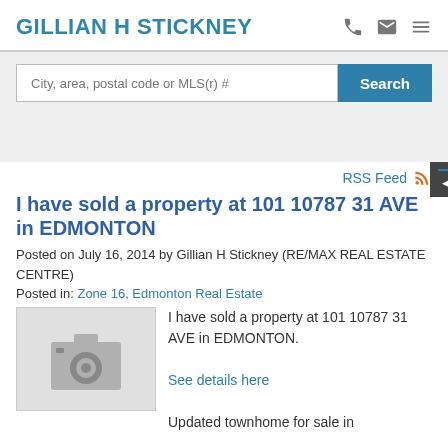GILLIAN H STICKNEY
City, area, postal code or MLS(r) #
Search
RSS Feed
I have sold a property at 101 10787 31 AVE in EDMONTON
Posted on July 16, 2014 by Gillian H Stickney (RE/MAX REAL ESTATE CENTRE)
Posted in: Zone 16, Edmonton Real Estate
[Figure (photo): Camera placeholder icon on grey background]
I have sold a property at 101 10787 31 AVE in EDMONTON.

See details here

Updated townhome for sale in